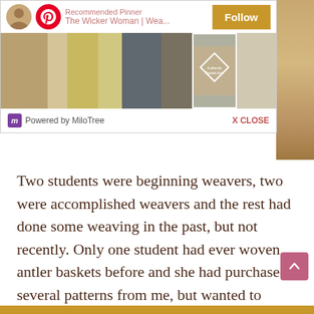[Figure (screenshot): Pinterest 'Recommended Pinner' popup bar showing The Wicker Woman | Wea... with a Follow button, a strip of weaving/basket images, and a MiloTree footer with X CLOSE link]
Two students were beginning weavers, two were accomplished weavers and the rest had done some weaving in the past, but not recently. Only one student had ever woven antler baskets before and she had purchased several patterns from me, but wanted to attend a class with me in person.